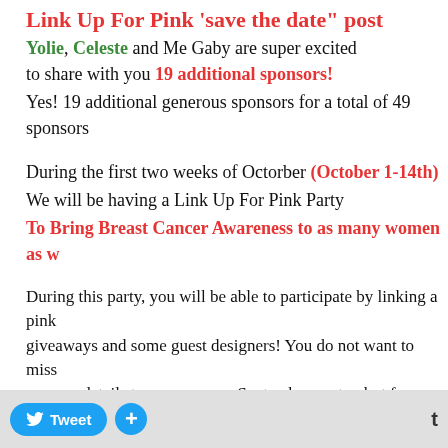Link Up For Pink 'save the date" post
Yolie, Celeste and Me Gaby are super excited to share with you 19 additional sponsors!
Yes! 19 additional generous sponsors for a total of 49 sponsors
During the first two weeks of Octorber (October 1-14th)
We will be having a Link Up For Pink Party
To Bring Breast Cancer Awareness to as many women as w
During this party, you will be able to participate by linking a pink giveaways and some guest designers! You do not want to miss ....more details to come on our September post.... but for now, here are our 19 oh so generous sponsors!
[Figure (logo): Stampin logo on cyan/light blue background]
[Figure (illustration): Purple polka dot background with a small illustrated character holding something red]
Tweet + t